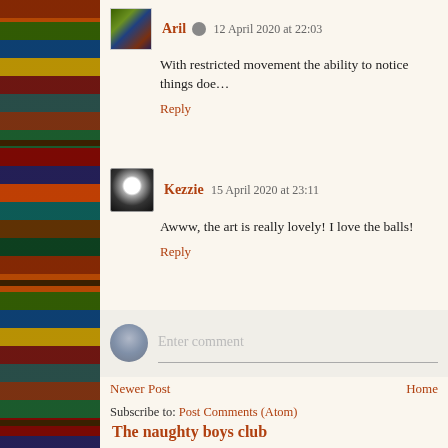[Figure (photo): Bookshelf with colorful book spines on left sidebar]
Aril  12 April 2020 at 22:03
With restricted movement the ability to notice things doe…
Reply
Kezzie  15 April 2020 at 23:11
Awww, the art is really lovely! I love the balls!
Reply
Enter comment
Newer Post
Home
Subscribe to: Post Comments (Atom)
The naughty boys club
For a long time now I've wanted to see the caves made famous by…